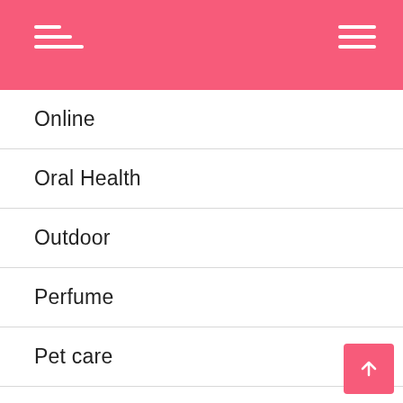Navigation header with hamburger menus
Online
Oral Health
Outdoor
Perfume
Pet care
Pets
Plumbing Company